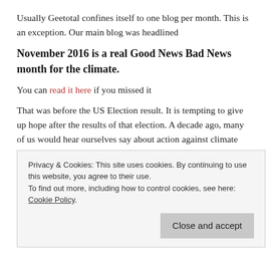Usually Geetotal confines itself to one blog per month. This is an exception. Our main blog was headlined
November 2016 is a real Good News Bad News month for the climate.
You can read it here if you missed it
That was before the US Election result. It is tempting to give up hope after the results of that election. A decade ago, many of us would hear ourselves say about action against climate change ‘what’s the point. It will make no difference when China is building a new coal-fired power station every
Privacy & Cookies: This site uses cookies. By continuing to use this website, you agree to their use.
To find out more, including how to control cookies, see here: Cookie Policy
Close and accept